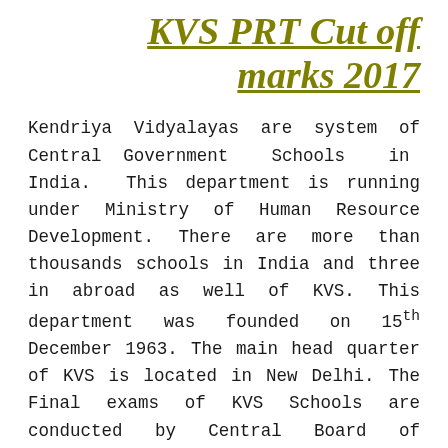KVS PRT Cut off marks 2017
Kendriya Vidyalayas are system of Central Government Schools in India. This department is running under Ministry of Human Resource Development. There are more than thousands schools in India and three in abroad as well of KVS. This department was founded on 15th December 1963. The main head quarter of KVS is located in New Delhi. The Final exams of KVS Schools are conducted by Central Board of Secondary Education.
KVS PRT Expected cut